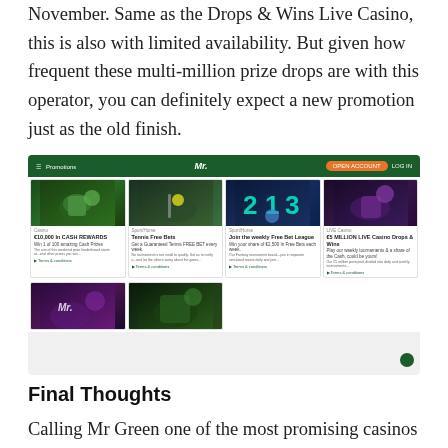November. Same as the Drops & Wins Live Casino, this is also with limited availability. But given how frequent these multi-million prize drops are with this operator, you can definitely expect a new promotion just as the old finish.
[Figure (screenshot): Screenshot of Mr Green casino promotions page showing navigation bar and a grid of promotional cards including €10,000 in Cash Rewards, Tennis Free Bets, Join the weekly Free Bet League, €5 Million Live Casino Drops & Wins, and two more cards.]
Final Thoughts
Calling Mr Green one of the most promising casinos is definitely an understatement. That is since Mr Green is